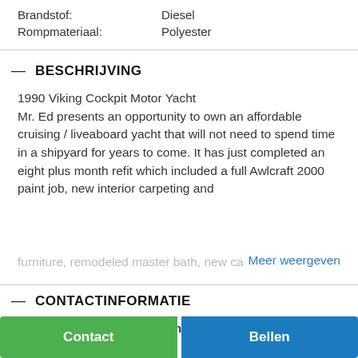Brandstof: Diesel
Rompmateriaal: Polyester
— BESCHRIJVING
1990 Viking Cockpit Motor Yacht
Mr. Ed presents an opportunity to own an affordable cruising / liveaboard yacht that will not need to spend time in a shipyard for years to come. It has just completed an eight plus month refit which included a full Awlcraft 2000 paint job, new interior carpeting and furniture, remodeled master bath, new canvas and
Meer weergeven
— CONTACTINFORMATIE
Aangeboden door: Frank Gordon Yacht Sales
Contact  Bellen